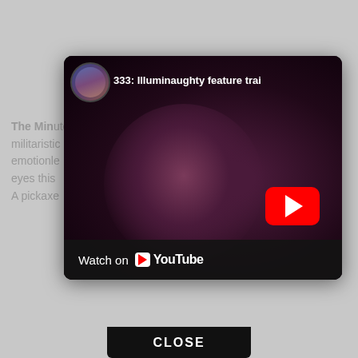The Min... almost militaristic... He's emotionle... ng glass eyes this... stinger: A pickaxe...
[Figure (screenshot): YouTube video embed modal showing a video titled '333: Illuminaughty feature trai' with a channel avatar in the top-left, a dark purple-toned video thumbnail showing a woman's face, a red YouTube play button overlay, and a 'Watch on YouTube' bar at the bottom. Below the modal is a 'CLOSE' button.]